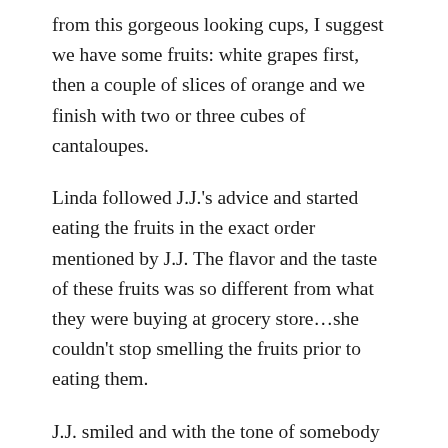from this gorgeous looking cups, I suggest we have some fruits: white grapes first, then a couple of slices of orange and we finish with two or three cubes of cantaloupes.
Linda followed J.J.'s advice and started eating the fruits in the exact order mentioned by J.J. The flavor and the taste of these fruits was so different from what they were buying at grocery store…she couldn't stop smelling the fruits prior to eating them.
J.J. smiled and with the tone of somebody who knows the business said:
-You cannot find them in our grocery stores. This sort of fruit quality would make the price go high and no grocer chain can afford it. Not too many people would